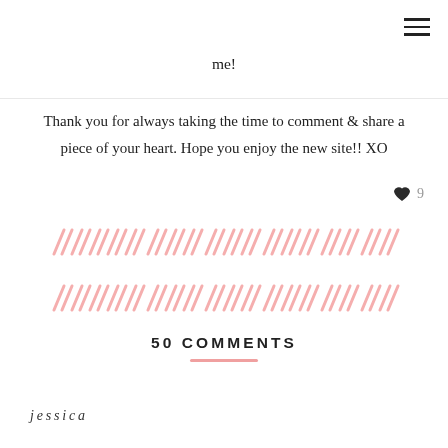≡ (menu icon)
me!
Thank you for always taking the time to comment & share a piece of your heart. Hope you enjoy the new site!! XO
[Figure (infographic): Pink diagonal stripe decorative divider lines, two rows]
50 COMMENTS
jessica